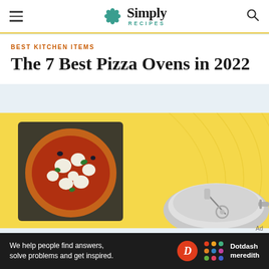Simply Recipes
BEST KITCHEN ITEMS
The 7 Best Pizza Ovens in 2022
[Figure (photo): A margherita pizza on a square dark baking stone and a round silver pizza pan with a pizza cutter, set against a yellow background with decorative arc lines]
Ad
[Figure (logo): Dotdash Meredith advertisement banner: 'We help people find answers, solve problems and get inspired.' with Dotdash Meredith logo]